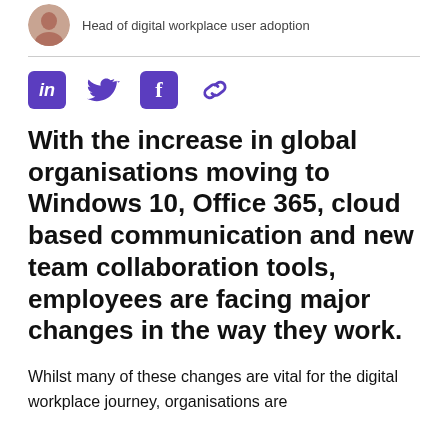Head of digital workplace user adoption
[Figure (illustration): Social media sharing icons: LinkedIn (purple square), Twitter bird (purple), Facebook (purple square), chain link (purple)]
With the increase in global organisations moving to Windows 10, Office 365, cloud based communication and new team collaboration tools, employees are facing major changes in the way they work.
Whilst many of these changes are vital for the digital workplace journey, organisations are